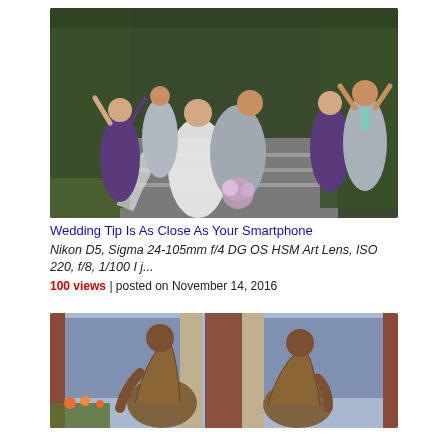[Figure (photo): Wedding party photo with bride and groom kissing (groom dipping bride) in foreground, bridesmaids in purple and groomsmen in grey suits celebrating on steps in front of a hedge backdrop.]
Wedding Tip Is As Close As Your Smartphone
Nikon D5, Sigma 24-105mm f/4 DG OS HSM Art Lens, ISO 220, f/8, 1/100 I j...
100 views | posted on November 14, 2016
[Figure (photo): Two bronze statues of seated figures outside a brick and glass building, shown side by side.]